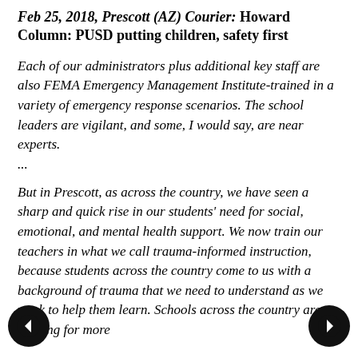Feb 25, 2018, Prescott (AZ) Courier: Howard Column: PUSD putting children, safety first
Each of our administrators plus additional key staff are also FEMA Emergency Management Institute-trained in a variety of emergency response scenarios. The school leaders are vigilant, and some, I would say, are near experts. ...
But in Prescott, as across the country, we have seen a sharp and quick rise in our students' need for social, emotional, and mental health support. We now train our teachers in what we call trauma-informed instruction, because students across the country come to us with a background of trauma that we need to understand as we work to help them learn. Schools across the country are groping for more